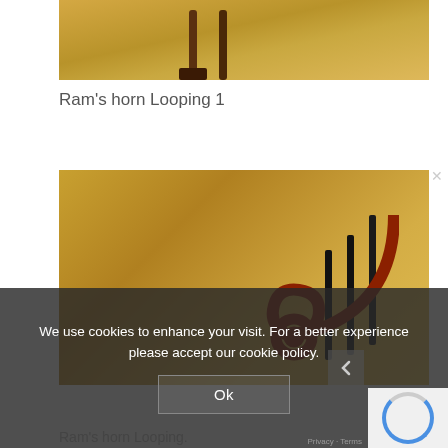[Figure (photo): Photo of stair handrail base — warm yellow/golden interior with dark wooden rail posts and a mahogany-colored base plate on a tile floor.]
Ram’s horn Looping 1
[Figure (photo): Photo of a ram’s horn looping handrail end — dark reddish-brown curved wooden rail curling into a spiral, with black metal balusters, against warm golden-yellow wall tiles.]
We use cookies to enhance your visit. For a better experience please accept our cookie policy.
Ram’s horn Looping.